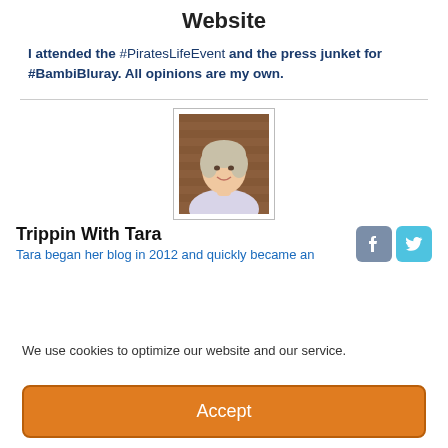Website
I attended the #PiratesLifeEvent and the press junket for #BambiBluray. All opinions are my own.
[Figure (photo): Author profile photo of Tara, a woman with short blonde/grey hair smiling, wearing a white top, against a brick wall background]
Trippin With Tara
Tara began her blog in 2012 and quickly became an
We use cookies to optimize our website and our service.
Accept